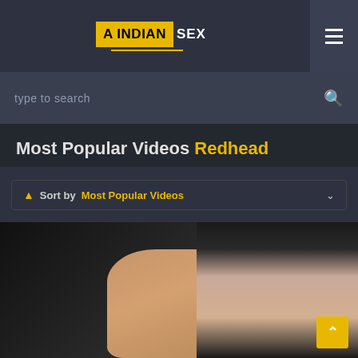A INDIAN SEX
type to search
Most Popular Videos Redhead
Sort by Most Popular Videos
[Figure (photo): Video thumbnail showing two people, dark background on left, face of young woman on right side]